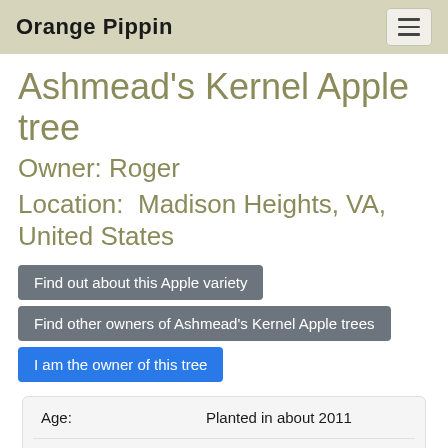Orange Pippin
Ashmead's Kernel Apple tree
Owner: Roger
Location: Madison Heights, VA, United States
Find out about this Apple variety
Find other owners of Ashmead's Kernel Apple trees
I am the owner of this tree
| Field | Value |
| --- | --- |
| Age: | Planted in about 2011 |
| Age of this tree: | 12 years |
| Tree form: | Cordon |